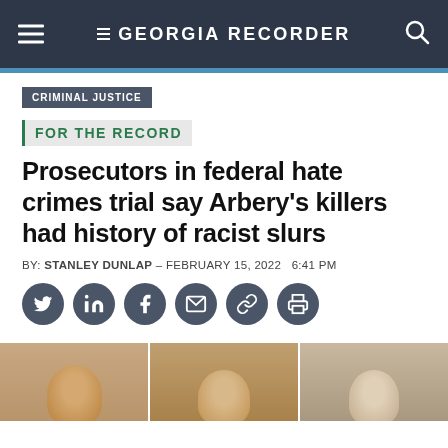GEORGIA RECORDER
CRIMINAL JUSTICE
FOR THE RECORD
Prosecutors in federal hate crimes trial say Arbery's killers had history of racist slurs
BY: STANLEY DUNLAP - FEBRUARY 15, 2022  6:41 PM
[Figure (other): Social sharing icons: Twitter, LinkedIn, Facebook, Email, Link, Print]
[Figure (photo): Partial photo showing tops of three heads of individuals, presumably the defendants in the Arbery case]